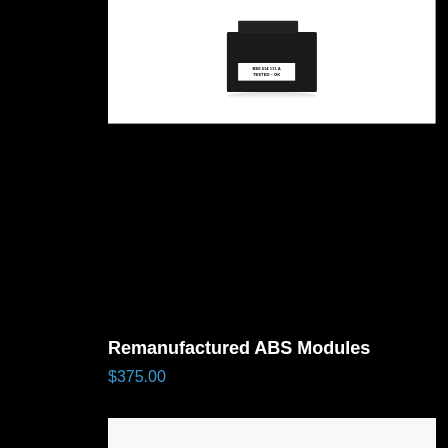[Figure (photo): Black ABS module with white label reading 'BE0 614 111 A TESTED - OK' on a white background]
Remanufactured ABS Modules
$375.00
[Figure (photo): Metallic silver mechanical component, appearing to be a hydraulic or brake master cylinder assembly, on a white background]